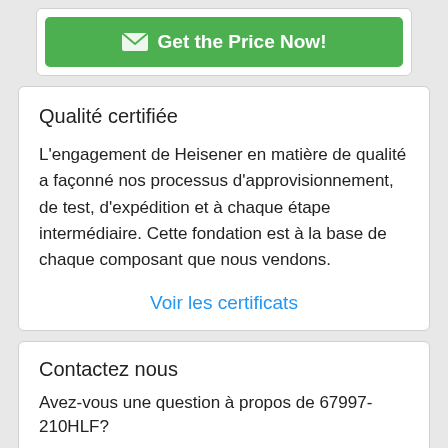[Figure (other): Green button with envelope icon labeled 'Get the Price Now!']
Qualité certifiée
L'engagement de Heisener en matière de qualité a façonné nos processus d'approvisionnement, de test, d'expédition et à chaque étape intermédiaire. Cette fondation est à la base de chaque composant que nous vendons.
Voir les certificats
Contactez nous
Avez-vous une question à propos de 67997-210HLF?
Telephone
86-755-83210559-817
E-mail